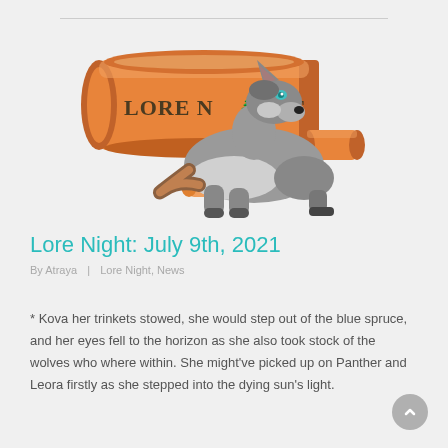[Figure (illustration): A grey wolf lying down next to a large orange scroll banner reading 'LORE NIGHT', with smaller scrolls and bones around it, on a light grey background.]
Lore Night: July 9th, 2021
By Atraya  |  Lore Night, News
* Kova her trinkets stowed, she would step out of the blue spruce, and her eyes fell to the horizon as she also took stock of the wolves who where within. She might've picked up on Panther and Leora firstly as she stepped into the dying sun's light.